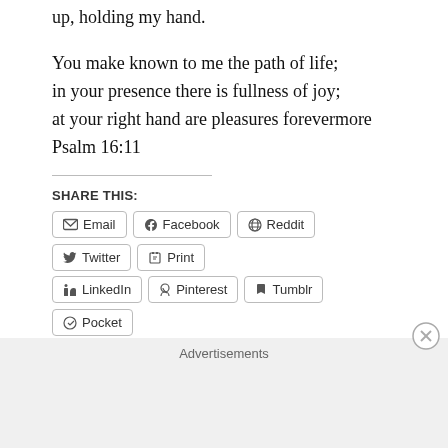up, holding my hand.

You make known to me the path of life;
in your presence there is fullness of joy;
at your right hand are pleasures forevermore
Psalm 16:11
SHARE THIS:
Email | Facebook | Reddit | Twitter | Print | LinkedIn | Pinterest | Tumblr | Pocket | Telegram | WhatsApp | Skype
LIKE THIS:
Like
Advertisements